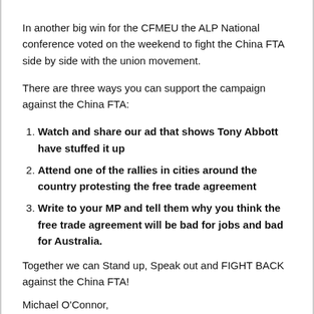In another big win for the CFMEU the ALP National conference voted on the weekend to fight the China FTA side by side with the union movement.
There are three ways you can support the campaign against the China FTA:
Watch and share our ad that shows Tony Abbott have stuffed it up
Attend one of the rallies in cities around the country protesting the free trade agreement
Write to your MP and tell them why you think the free trade agreement will be bad for jobs and bad for Australia.
Together we can Stand up, Speak out and FIGHT BACK against the China FTA!
Michael O'Connor,